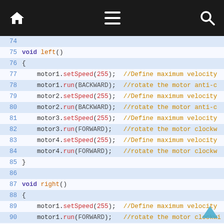[Figure (screenshot): Dark navigation bar with home icon, hamburger menu icon, and search icon on a black background]
Code listing showing Arduino motor control functions: left(), right(), and Stop() with line numbers 74-99. Each function sets motor speeds to 255 and runs motors in specified directions.